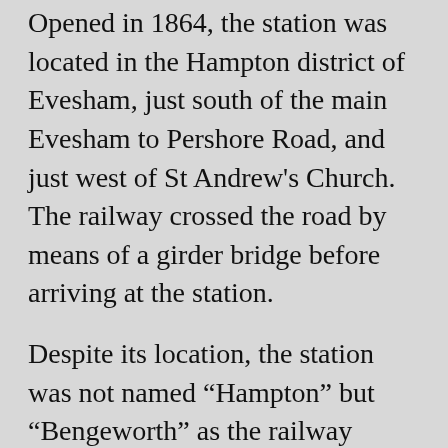Opened in 1864, the station was located in the Hampton district of Evesham, just south of the main Evesham to Pershore Road, and just west of St Andrew's Church.  The railway crossed the road by means of a girder bridge before arriving at the station.
Despite its location, the station was not named “Hampton” but “Bengeworth” as the railway already had a “Hampton” station on the line between Birmingham and Derby, and wanted to avoid any confusion this might cause.  The choice of name didn’t go down well with the local residents, especially as the actual Bengeworth area of the town was some distance